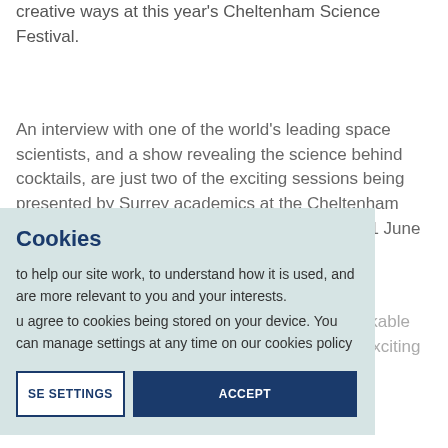creative ways at this year's Cheltenham Science Festival.
An interview with one of the world's leading space scientists, and a show revealing the science behind cocktails, are just two of the exciting sessions being presented by Surrey academics at the Cheltenham Science Festival, which takes place from 6 to 11 June 2017.
…conduct a live … and former Chief Scientist … remarkable … Ellen has been of the forefront of a number of exciting discoveries which have helped inform our understanding of Mars, Venus and planet Earth.
Cookies
to help our site work, to understand how it is used, and are more relevant to you and your interests.
u agree to cookies being stored on your device. You can manage settings at any time on our cookies policy
CHANGE SETTINGS   ACCEPT